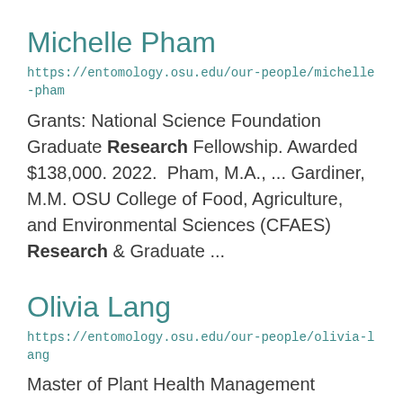Michelle Pham
https://entomology.osu.edu/our-people/michelle-pham
Grants: National Science Foundation Graduate Research Fellowship. Awarded $138,000. 2022.  Pham, M.A., ... Gardiner, M.M. OSU College of Food, Agriculture, and Environmental Sciences (CFAES) Research & Graduate ...
Olivia Lang
https://entomology.osu.edu/our-people/olivia-lang
Master of Plant Health Management Program. Olivia's research is looking at the